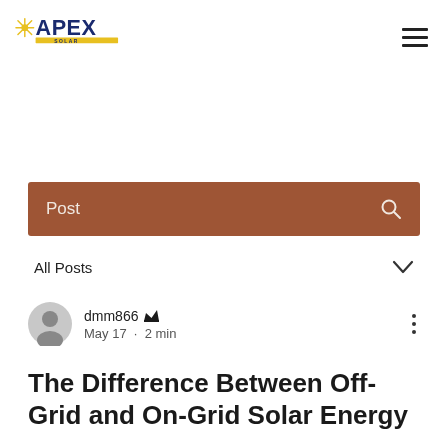Apex Solar logo and navigation menu
[Figure (screenshot): Post search bar with brown background and search icon]
All Posts
dmm866 Admin
May 17 · 2 min
The Difference Between Off-Grid and On-Grid Solar Energy